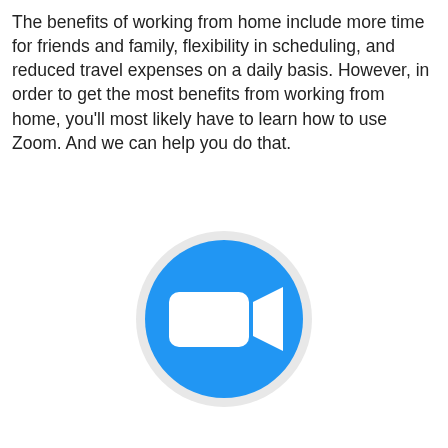The benefits of working from home include more time for friends and family, flexibility in scheduling, and reduced travel expenses on a daily basis. However, in order to get the most benefits from working from home, you'll most likely have to learn how to use Zoom. And we can help you do that.
[Figure (logo): Zoom logo: blue circle with white video camera icon on top, and the word 'zoom' in blue below]